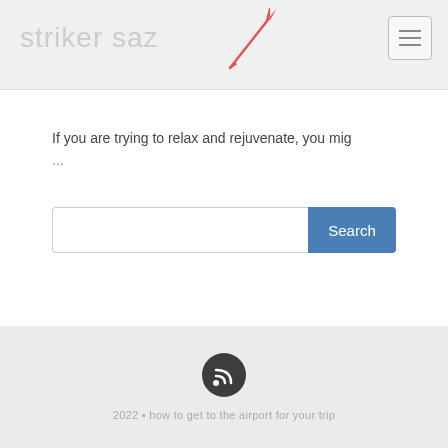striker saz
If you are trying to relax and rejuvenate, you mig
...
[Figure (other): Search bar with text input and blue Search button]
2022 • how to get to the airport for your trip